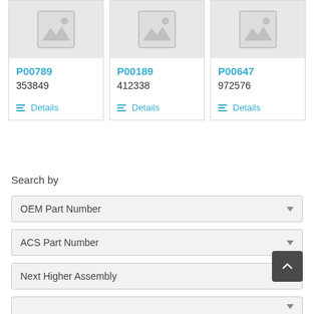[Figure (other): Product card placeholder image for P00789]
P00789
353849
Details
[Figure (other): Product card placeholder image for P00189]
P00189
412338
Details
[Figure (other): Product card placeholder image for P00647]
P00647
972576
Details
Search by
OEM Part Number
ACS Part Number
Next Higher Assembly